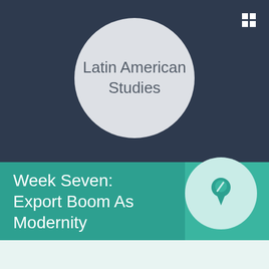Latin American Studies
Week Seven: Export Boom As Modernity
Modernity can be looked as a positive or negative thing depending on who you